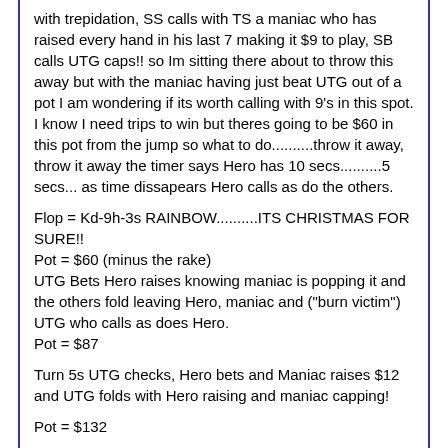with trepidation, SS calls with TS a maniac who has raised every hand in his last 7 making it $9 to play, SB calls UTG caps!! so Im sitting there about to throw this away but with the maniac having just beat UTG out of a pot I am wondering if its worth calling with 9's in this spot. I know I need trips to win but theres going to be $60 in this pot from the jump so what to do..........throw it away, throw it away the timer says Hero has 10 secs..........5 secs... as time dissapears Hero calls as do the others.
Flop = Kd-9h-3s RAINBOW..........ITS CHRISTMAS FOR SURE!!
Pot = $60 (minus the rake)
UTG Bets Hero raises knowing maniac is popping it and the others fold leaving Hero, maniac and ("burn victim") UTG who calls as does Hero.
Pot = $87
Turn 5s UTG checks, Hero bets and Maniac raises $12 and UTG folds with Hero raising and maniac capping!
Pot = $132
River 4d
Hero hates this card
Kd-9h-3s-5s-4d
Hero bets anyway maniac calls and shows TRIP 3's!!